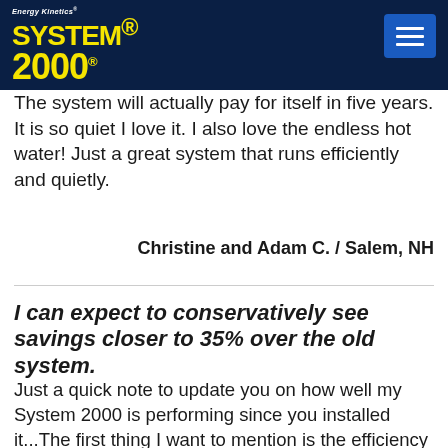[Figure (logo): Energy Kinetics System 2000 logo with yellow text on dark navy background, with hamburger menu button]
The system will actually pay for itself in five years. It is so quiet I love it. I also love the endless hot water! Just a great system that runs efficiently and quietly.
Christine and Adam C. / Salem, NH
I can expect to conservatively see savings closer to 35% over the old system.
Just a quick note to update you on how well my System 2000 is performing since you installed it...The first thing I want to mention is the efficiency of the unit even though we added an additional heating zone in the basement of the house. Basing my use on an annual basis and considering